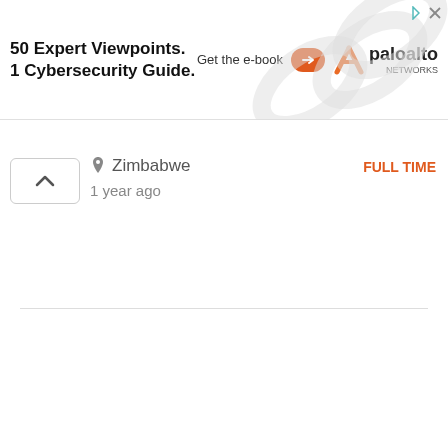[Figure (screenshot): Advertisement banner for Palo Alto Networks e-book: '50 Expert Viewpoints. 1 Cybersecurity Guide.' with 'Get the e-book' CTA button and Palo Alto Networks logo]
Zimbabwe
1 year ago
FULL TIME